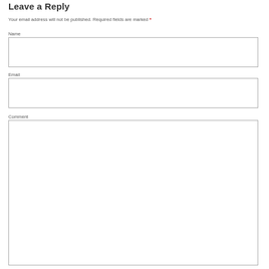Leave a Reply
Your email address will not be published. Required fields are marked *
Name
Email
Comment